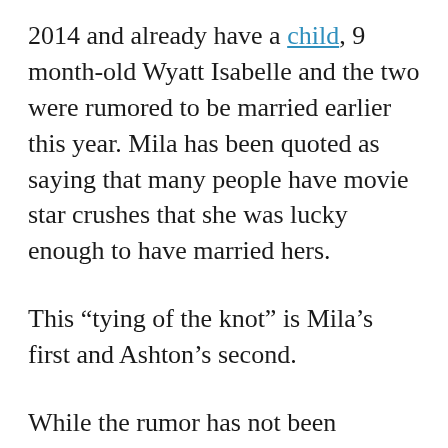2014 and already have a child, 9 month-old Wyatt Isabelle and the two were rumored to be married earlier this year. Mila has been quoted as saying that many people have movie star crushes that she was lucky enough to have married hers.
This “tying of the knot” is Mila’s first and Ashton’s second.
While the rumor has not been officially confirmed, the news that they married over the holiday weekend is pretty exciting stuff for their fans. Their love story has